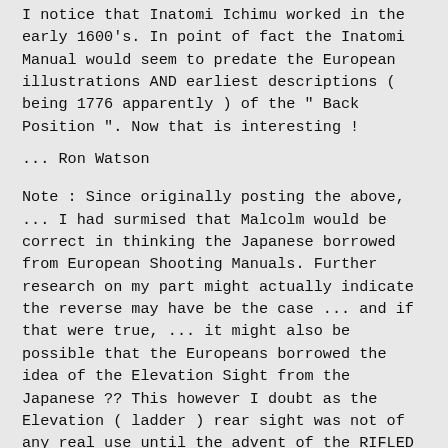I notice that Inatomi Ichimu worked in the early 1600's. In point of fact the Inatomi Manual would seem to predate the European illustrations AND earliest descriptions ( being 1776 apparently ) of the " Back Position ". Now that is interesting !
... Ron Watson
Note : Since originally posting the above, ... I had surmised that Malcolm would be correct in thinking the Japanese borrowed from European Shooting Manuals. Further research on my part might actually indicate the reverse may have be the case ... and if that were true, ... it might also be possible that the Europeans borrowed the idea of the Elevation Sight from the Japanese ?? This however I doubt as the Elevation ( ladder ) rear sight was not of any real use until the advent of the RIFLED barrel and the rifled barrel most definitely was not in use by the Japanese prior to it being introduced to Japan post 1853. Someone is bound to note that the first European rifled barrels appeared in 1540 ( Germany ) but they did not come into any general use until much much later.
[Figure (illustration): Historical black and white engraving showing a military encampment scene with soldiers, tents, and crowds of people.]